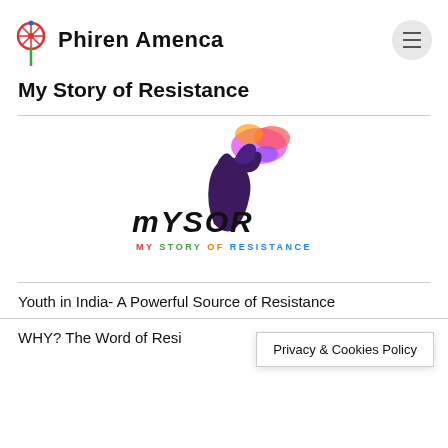Phiren Amenca
My Story of Resistance
[Figure (logo): MYSOR – My Story of Resistance logo: stylized text 'mYSOR' in bold black with colorful subtitle 'MY STORY OF RESISTANCE', featuring a person with raised fist and colorful graffiti-style splatter above]
Youth in India- A Powerful Source of Resistance
WHY? The Word of Resi…
Privacy & Cookies Policy